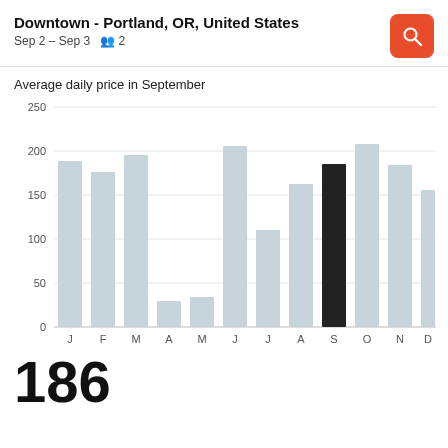Downtown - Portland, OR, United States
Sep 2 – Sep 3   2
Average daily price in September
[Figure (bar-chart): Average daily price in September]
186